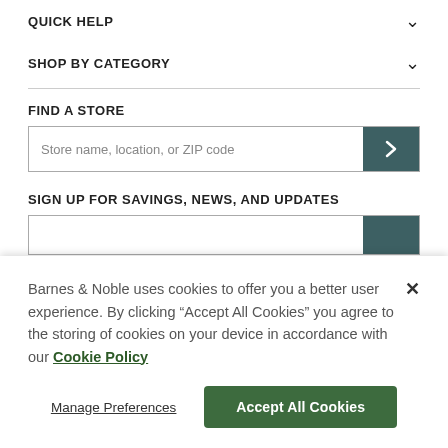QUICK HELP
SHOP BY CATEGORY
FIND A STORE
Store name, location, or ZIP code
SIGN UP FOR SAVINGS, NEWS, AND UPDATES
Barnes & Noble uses cookies to offer you a better user experience. By clicking "Accept All Cookies" you agree to the storing of cookies on your device in accordance with our Cookie Policy
Manage Preferences
Accept All Cookies